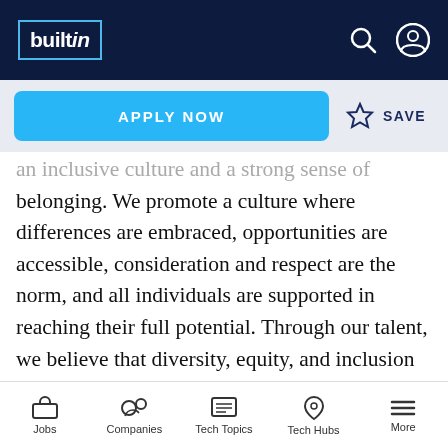builtin
APPLY NOW   ☆ SAVE
an inclusive culture and a strong sense of belonging. We promote a culture where differences are embraced, opportunities are accessible, consideration and respect are the norm, and all individuals are supported in reaching their full potential. Through our talent, we believe that diversity, equity, and inclusion make us a more innovative and vibrant place to work. People are at the center, and we are committed to a sustainable environment
Jobs   Companies   Tech Topics   Tech Hubs   More